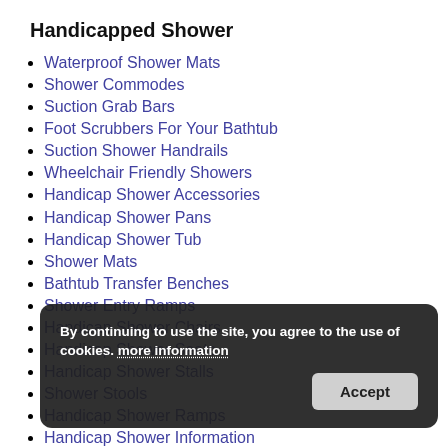Handicapped Shower
Waterproof Shower Mats
Shower Commodes
Suction Grab Bars
Foot Scrubbers For Your Bathtub
Suction Shower Handrails
Wheelchair Friendly Showers
Handicap Shower Accessories
Handicap Shower Pans
Handicap Shower Tub
Shower Mats
Bathtub Transfer Benches
Shower Entry Ramps
Handicap Shower Chairs
Handicap Shower Seats
Handicap Shower Stalls
Shower Stools
Handicap Shower Ramps
Handicap Shower Information
Bathtub Grab Bars
Handicap Shower Heads
Wheelchair Accessible Showers
Shower Accessories For Disabled
By continuing to use the site, you agree to the use of cookies. more information
Accept